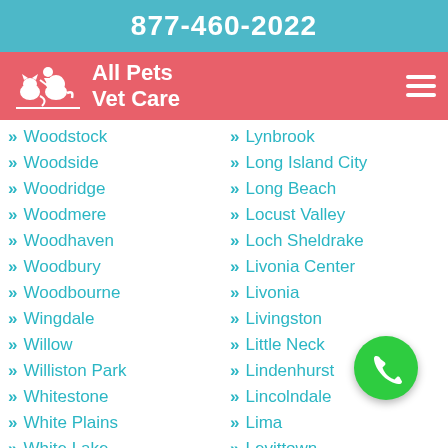877-460-2022
All Pets Vet Care
Woodstock
Woodside
Woodridge
Woodmere
Woodhaven
Woodbury
Woodbourne
Wingdale
Willow
Williston Park
Whitestone
White Plains
White Lake
Lynbrook
Long Island City
Long Beach
Locust Valley
Loch Sheldrake
Livonia Center
Livonia
Livingston
Little Neck
Lindenhurst
Lincolndale
Lima
Levittown